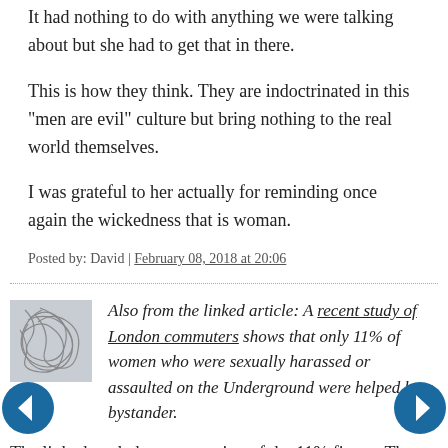It had nothing to do with anything we were talking about but she had to get that in there.
This is how they think. They are indoctrinated in this "men are evil" culture but bring nothing to the real world themselves.
I was grateful to her actually for reminding once again the wickedness that is woman.
Posted by: David | February 08, 2018 at 20:06
[Figure (illustration): Small square avatar image with abstract scribble/line art pattern on a light grey background]
Also from the linked article: A recent study of London commuters shows that only 11% of women who were sexually harassed or assaulted on the Underground were helped by a bystander.
The linked study has no mention of the 11% figure. The PDF of summary results contains no mention of bystanders whatsoever. What it does show is that three-quarters of